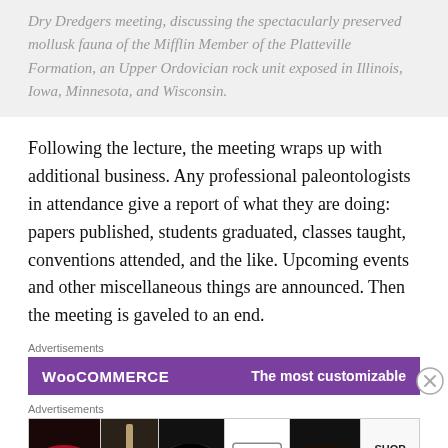Dry Dredgers meeting, discussing the spectacularly preserved mollusk fauna of the Mifflin Member of the Platteville Formation, an Upper Ordovician rock unit exposed in Illinois, Iowa, Minnesota, and Wisconsin.
Following the lecture, the meeting wraps up with additional business. Any professional paleontologists in attendance give a report of what they are doing: papers published, students graduated, classes taught, conventions attended, and the like. Upcoming events and other miscellaneous things are announced. Then the meeting is gaveled to an end.
Advertisements
[Figure (other): WooCommerce advertisement banner — purple background, WooCommerce logo on left, 'The most customizable' text on right in white.]
Advertisements
[Figure (other): Advertisement strip showing makeup/beauty images: lips with red lipstick, makeup brush, eye with mascara, ULTA Beauty logo, eyes with dark makeup, and SHOP NOW text.]